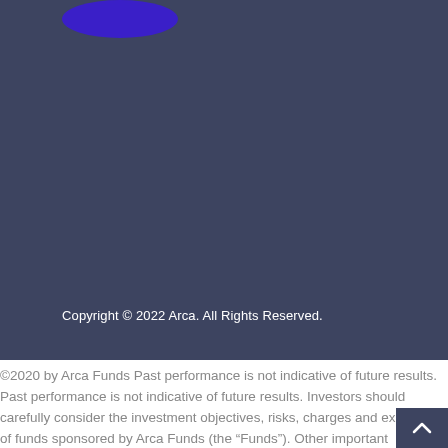[Figure (logo): Arca Funds logo — blue/purple blob shape at top left of dark navy header section]
Copyright © 2022 Arca. All Rights Reserved.
©2020 by Arca Funds Past performance is not indicative of future results. Past performance is not indicative of future results. Investors should carefully consider the investment objectives, risks, charges and expenses of funds sponsored by Arca Funds (the "Funds"). Other important information about the Funds are in each respective Fund's offering documents. A Fund's offering documents should be read carefully before investing.